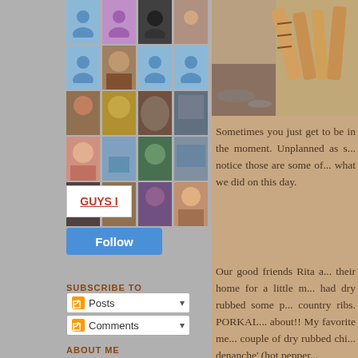[Figure (screenshot): Grid of user avatar thumbnails in a blog sidebar widget]
[Figure (screenshot): Guys badge/logo thumbnail]
Follow
SUBSCRIBE TO
Posts
Comments
ABOUT ME
[Figure (photo): Food photo showing grilled/dry rubbed meats]
Sometimes you just get to be in the moment. Unplanned as s... notice those are some of... what we did on this day.
Our good friends Rita a... their home for a little m... had dry rubbed some p... country ribs. PORKAL... about!! My favorite me... couple of dry rubbed chi... denanche' (hot pepper...